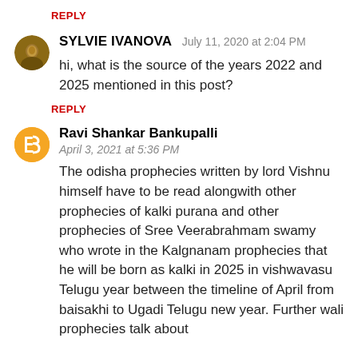REPLY
SYLVIE IVANOVA  July 11, 2020 at 2:04 PM
hi, what is the source of the years 2022 and 2025 mentioned in this post?
REPLY
Ravi Shankar Bankupalli
April 3, 2021 at 5:36 PM
The odisha prophecies written by lord Vishnu himself have to be read alongwith other prophecies of kalki purana and other prophecies of Sree Veerabrahmam swamy who wrote in the Kalgnanam prophecies that he will be born as kalki in 2025 in vishwavasu Telugu year between the timeline of April from baisakhi to Ugadi Telugu new year. Further wali prophecies talk about